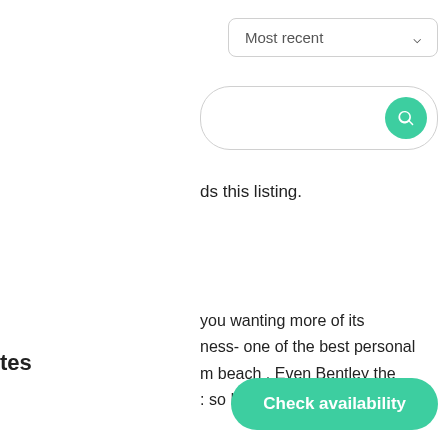Most recent
[Figure (screenshot): Search bar with green circular search icon button on the right]
ds this listing.
you wanting more of its ness- one of the best personal m beach . Even Bentley the : so I wouldn't be alone. Cabin
tes
Check availability